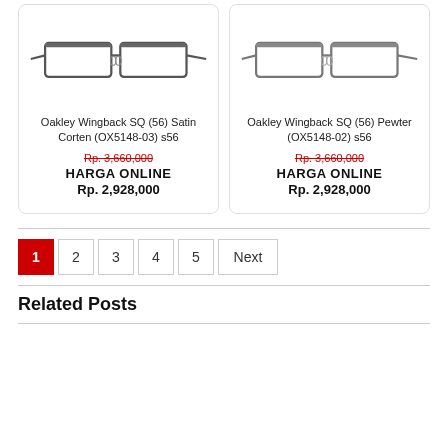[Figure (photo): Oakley Wingback SQ eyeglasses in Satin Corten color, semi-rimless rectangular metal frame]
Oakley Wingback SQ (56) Satin Corten (OX5148-03) s56
Rp. 3,660,000 (strikethrough original price)
HARGA ONLINE
Rp. 2,928,000
[Figure (photo): Oakley Wingback SQ eyeglasses in Pewter color, semi-rimless rectangular metal frame]
Oakley Wingback SQ (56) Pewter (OX5148-02) s56
Rp. 3,660,000 (strikethrough original price)
HARGA ONLINE
Rp. 2,928,000
1 2 3 4 5 Next
Related Posts